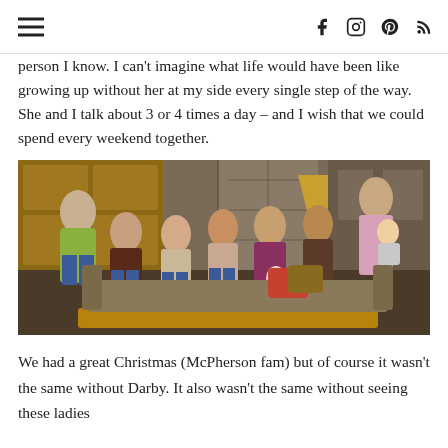≡  f  ⊙  ⓟ  ⊳
person I know. I can't imagine what life would have been like growing up without her at my side every single step of the way. She and I talk about 3 or 4 times a day – and I wish that we could spend every weekend together.
[Figure (photo): Group photo of several women sitting and standing in a living room, some holding babies, taken around Christmas time.]
We had a great Christmas (McPherson fam) but of course it wasn't the same without Darby. It also wasn't the same without seeing these ladies